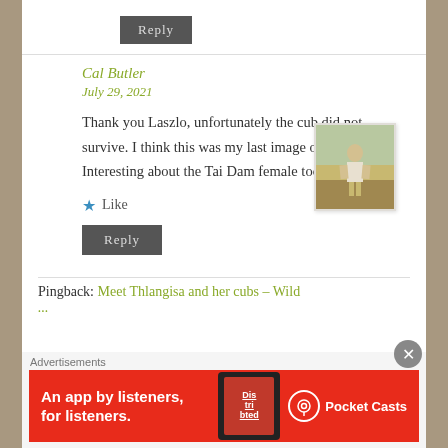Reply
Cal Butler
July 29, 2021
[Figure (photo): Avatar photo of a person standing outdoors]
Thank you Laszlo, unfortunately the cub did not survive. I think this was my last image of the 1:1 cub. Interesting about the Tai Dam female too.
Like
Reply
Pingback: Meet Thlangisa and her cubs – Wild
Advertisements
[Figure (screenshot): Pocket Casts advertisement banner: An app by listeners, for listeners.]